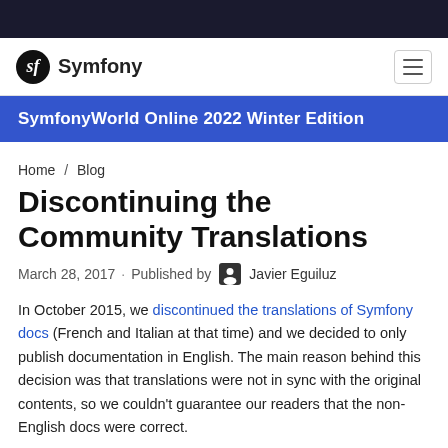Symfony
SymfonyWorld Online 2022 Winter Edition
Home / Blog
Discontinuing the Community Translations
March 28, 2017 · Published by Javier Eguiluz
In October 2015, we discontinued the translations of Symfony docs (French and Italian at that time) and we decided to only publish documentation in English. The main reason behind this decision was that translations were not in sync with the original contents, so we couldn't guarantee our readers that the non-English docs were correct.